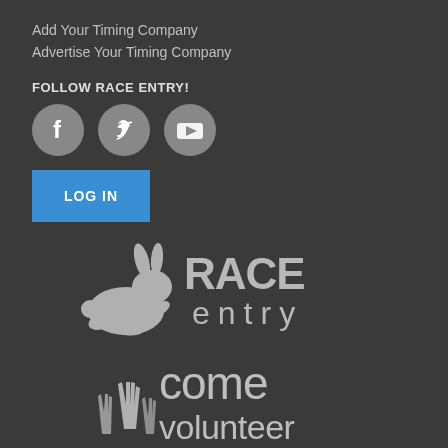Add Your Timing Company
Advertise Your Timing Company
FOLLOW RACE ENTRY!
[Figure (illustration): Three circular social media icons: Facebook, Twitter, YouTube]
[Figure (illustration): Blue LOG IN button]
[Figure (logo): Race Entry logo with running rabbit mascot and RACE entry text in gray]
[Figure (logo): Come Volunteer logo with raised hands icon and come volunteer text in gray]
[Figure (logo): Partially visible STRIDE logo at the bottom of the page]